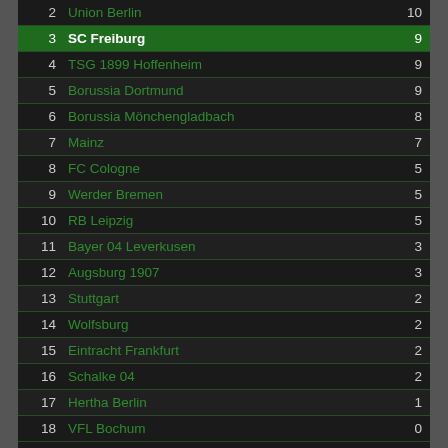| Rank | Team | Points |
| --- | --- | --- |
| 2 | Union Berlin | 10 |
| 3 | SC Freiburg | 9 |
| 4 | TSG 1899 Hoffenheim | 9 |
| 5 | Borussia Dortmund | 9 |
| 6 | Borussia Mönchengladbach | 8 |
| 7 | Mainz | 7 |
| 8 | FC Cologne | 5 |
| 9 | Werder Bremen | 5 |
| 10 | RB Leipzig | 5 |
| 11 | Bayer 04 Leverkusen | 3 |
| 12 | Augsburg 1907 | 3 |
| 13 | Stuttgart | 2 |
| 14 | Wolfsburg | 2 |
| 15 | Eintracht Frankfurt | 2 |
| 16 | Schalke 04 | 2 |
| 17 | Hertha Berlin | 1 |
| 18 | VFL Bochum | 0 |